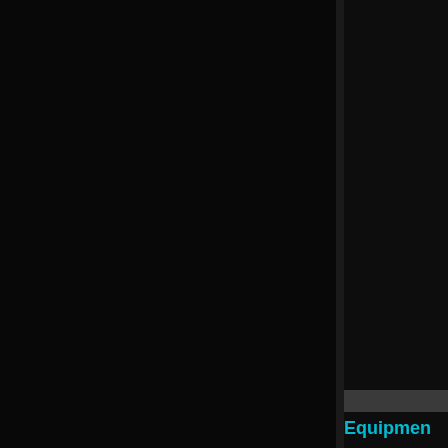[Figure (photo): Mostly black/dark page with a vertical divider separating a main dark area on the left from a narrower dark side panel on the right. A gray horizontal bar appears near the bottom of the side panel, and cyan text reading 'Equipment' (partially visible) appears at the bottom right.]
Equipment